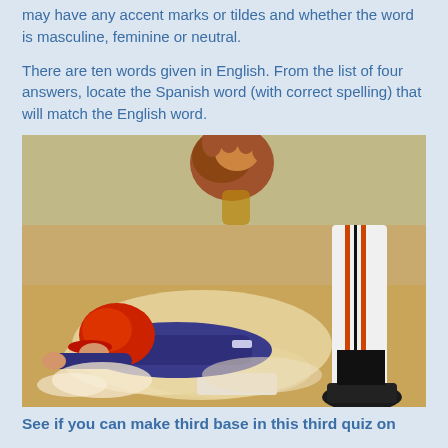may have any accent marks or tildes and whether the word is masculine, feminine or neutral.
There are ten words given in English. From the list of four answers, locate the Spanish word (with correct spelling) that will match the English word.
[Figure (photo): A baseball player in a red helmet diving head-first into a base while a fielder's gloved hand reaches down from above, dust flying, on a dirt field. A second player in white uniform stands to the right.]
See if you can make third base in this third quiz on